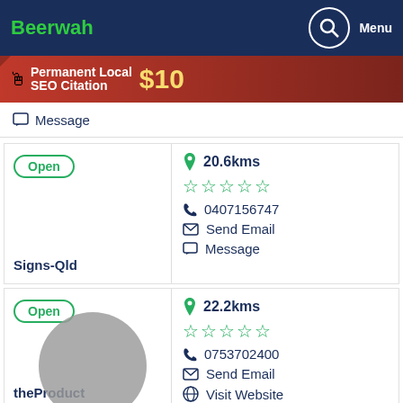Beerwah | Menu
[Figure (screenshot): Ad banner: Permanent Local SEO Citation $10]
Message
Open | 20.6kms | 0407156747 | Send Email | Message | Signs-Qld
Open | 22.2kms | 0753702400 | Send Email | Visit Website | theProduct